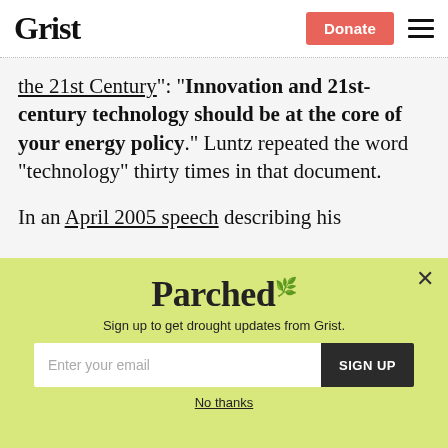Grist | Donate
the 21st Century”: “Innovation and 21st-century technology should be at the core of your energy policy.” Luntz repeated the word “technology” thirty times in that document.

In an April 2005 speech describing his
[Figure (infographic): Parched newsletter signup popup with yellow-green background. Shows 'Parched' logo, subtitle 'Sign up to get drought updates from Grist.', email input field, SIGN UP button, and 'No thanks' link. Close (X) button in top right.]